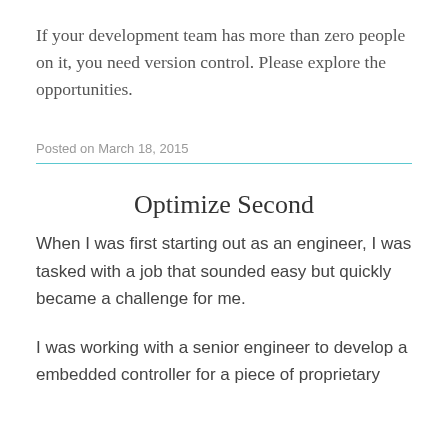If your development team has more than zero people on it, you need version control. Please explore the opportunities.
Posted on March 18, 2015
Optimize Second
When I was first starting out as an engineer, I was tasked with a job that sounded easy but quickly became a challenge for me.
I was working with a senior engineer to develop a embedded controller for a piece of proprietary